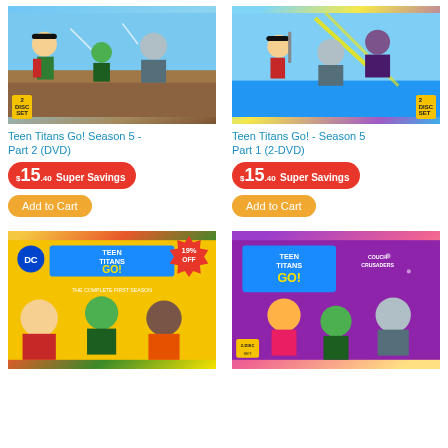[Figure (illustration): Teen Titans Go! Season 5 Part 2 DVD cover art showing cartoon characters Robin, Cyborg, Beast Boy and others in action poses with '2 Disc Set' badge]
Teen Titans Go! Season 5 - Part 2 (DVD)
$15.40 Super Savings
Add to Cart
[Figure (illustration): Teen Titans Go! Season 5 Part 1 2-DVD cover art showing cartoon characters in action with colorful background and '2 Disc Set' badge]
Teen Titans Go! - Season 5 Part 1 (2-DVD)
$15.40 Super Savings
Add to Cart
[Figure (illustration): Teen Titans Go! The Complete First Season DVD cover with DC logo, yellow background, cartoon characters, and 19% OFF badge]
[Figure (illustration): Teen Titans Go! Couch Crusaders DVD cover with purple background, cartoon characters including Beast Boy and Cyborg]